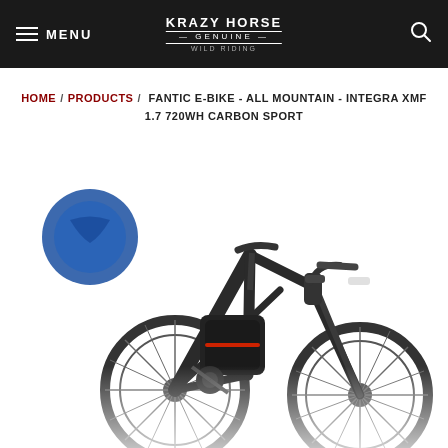MENU | KRAZY HORSE GENUINE | [search]
HOME / PRODUCTS / FANTIC E-BIKE - ALL MOUNTAIN - INTEGRA XMF 1.7 720WH CARBON SPORT
[Figure (photo): Product photo of a Fantic e-bike (All Mountain Integra XMF 1.7 720Wh Carbon Sport) shown on a white background. A blue circular badge/sticker is visible on the upper left of the bike image.]